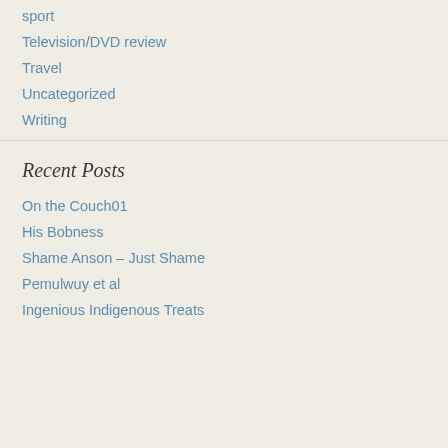sport
Television/DVD review
Travel
Uncategorized
Writing
Recent Posts
On the Couch01
His Bobness
Shame Anson – Just Shame
Pemulwuy et al
Ingenious Indigenous Treats